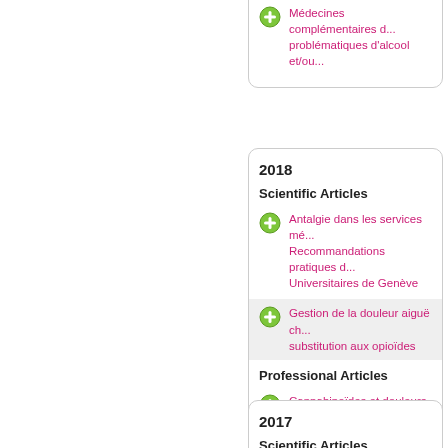Médecines complémentaires dans les problématiques d'alcool et/ou...
2018
Scientific Articles
Antalgie dans les services mé... Recommandations pratiques d... Universitaires de Genève
Gestion de la douleur aiguë ch... substitution aux opioïdes
Professional Articles
Cannabinoïdes et douleurs au...
2017
Scientific Articles
Protocol for a systematic revie... drinking among adolescents...